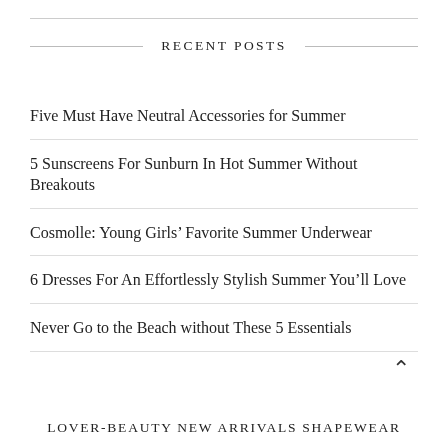RECENT POSTS
Five Must Have Neutral Accessories for Summer
5 Sunscreens For Sunburn In Hot Summer Without Breakouts
Cosmolle: Young Girls’ Favorite Summer Underwear
6 Dresses For An Effortlessly Stylish Summer You’ll Love
Never Go to the Beach without These 5 Essentials
LOVER-BEAUTY NEW ARRIVALS SHAPEWEAR